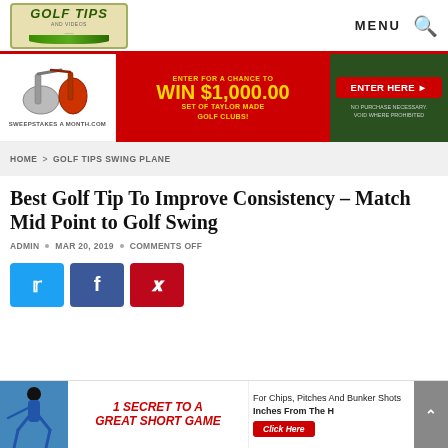GOLF TIPS AND VIDEOS | MENU [search icon]
[Figure (infographic): Sweepstakes ad banner: Golf iron clubs image on left, red background center with 'ENTER FOR A CHANCE TO WIN $1,000.00 SET OF TAYLOR MADE GOLF CLUBS!', right side with Enter Here button and fine print]
HOME > GOLF TIPS SWING PLANE
Best Golf Tip To Improve Consistency – Match Mid Point to Golf Swing
ADMIN • MAR 20, 2019 • COMMENTS OFF
[Figure (infographic): Social share buttons: Twitter (blue), Facebook (dark blue), Pinterest (red)]
[Figure (infographic): Bottom advertisement: '1 SECRET TO A GREAT SHORT GAME' with text 'For Chips, Pitches And Bunker Shots Inches From The H...' and Click Here button]